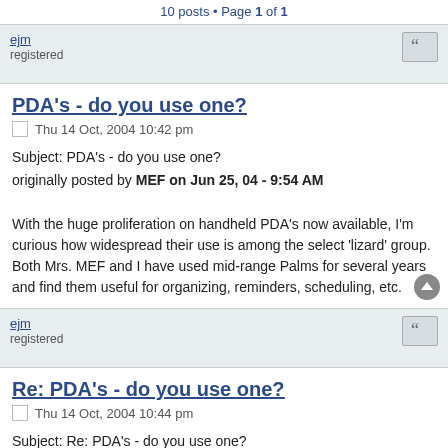10 posts • Page 1 of 1
ejm
registered
PDA's - do you use one?
Thu 14 Oct, 2004 10:42 pm
Subject: PDA's - do you use one?
originally posted by MEF on Jun 25, 04 - 9:54 AM
With the huge proliferation on handheld PDA's now available, I'm curious how widespread their use is among the select 'lizard' group. Both Mrs. MEF and I have used mid-range Palms for several years and find them useful for organizing, reminders, scheduling, etc.
ejm
registered
Re: PDA's - do you use one?
Thu 14 Oct, 2004 10:44 pm
Subject: Re: PDA's - do you use one?